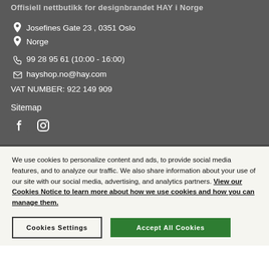Offisiell nettbutikk for designbrandet HAY i Norge
Josefines Gate 23 , 0351 Oslo
Norge
99 28 95 61 (10:00 - 16:00)
hayshop.no@hay.com
VAT NUMBER: 922 149 909
Sitemap
[Figure (illustration): Facebook and Instagram social media icons in white on dark grey background]
We use cookies to personalize content and ads, to provide social media features, and to analyze our traffic. We also share information about your use of our site with our social media, advertising, and analytics partners. View our Cookies Notice to learn more about how we use cookies and how you can manage them.
Cookies Settings
Accept All Cookies